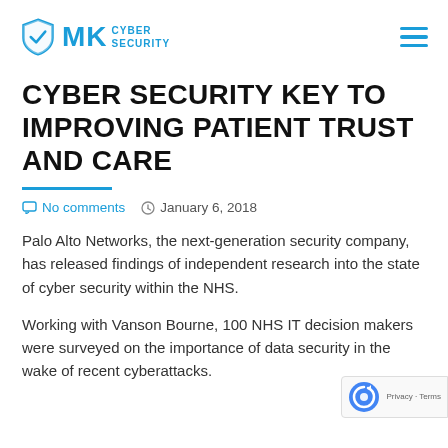[Figure (logo): MK Cyber Security logo with shield icon in blue and text 'MK CYBER SECURITY']
CYBER SECURITY KEY TO IMPROVING PATIENT TRUST AND CARE
No comments   January 6, 2018
Palo Alto Networks, the next-generation security company, has released findings of independent research into the state of cyber security within the NHS.
Working with Vanson Bourne, 100 NHS IT decision makers were surveyed on the importance of data security in the wake of recent cyberattacks.